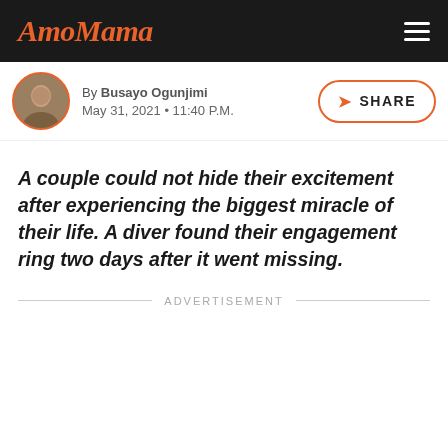AmoMama
By Busayo Ogunjimi
May 31, 2021 • 11:40 P.M.
A couple could not hide their excitement after experiencing the biggest miracle of their life. A diver found their engagement ring two days after it went missing.
ADVERTISEMENT